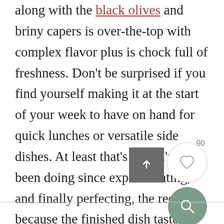along with the black olives and briny capers is over-the-top with complex flavor plus is chock full of freshness. Don't be surprised if you find yourself making it at the start of your week to have on hand for quick lunches or versatile side dishes. At least that's what I've been doing since experimenting, and finally perfecting, the recipe because the finished dish tastes A-mazing!
[Figure (other): UI elements: page number 90, a dark grey share/upload button with an up arrow icon, a circular white heart/favorite button, and a circular green search button with magnifying glass icon]